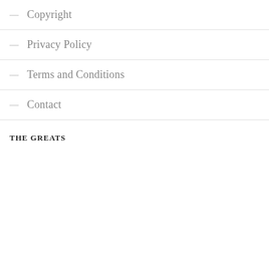— Copyright
— Privacy Policy
— Terms and Conditions
— Contact
THE GREATS